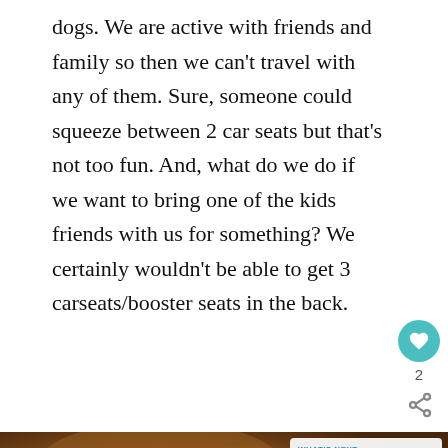dogs. We are active with friends and family so then we can't travel with any of them. Sure, someone could squeeze between 2 car seats but that's not too fun. And, what do we do if we want to bring one of the kids friends with us for something? We certainly wouldn't be able to get 3 carseats/booster seats in the back.
[Figure (photo): Close-up photo of caramel or brown sauce being poured from a spoon, with a 'WHAT'S NEXT' overlay in top right showing a thumbnail and text 'Oreo Crunch Brownies wi...']
[Figure (infographic): Advertisement banner reading 'UPLIFT MINORITY OWNED BUSINESSES' with a store icon on the left side on dark navy background]